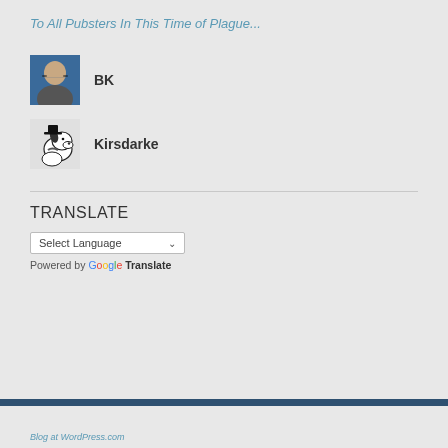To All Pubsters In This Time of Plague...
BK
Kirsdarke
TRANSLATE
Select Language
Powered by Google Translate
Blog at WordPress.com